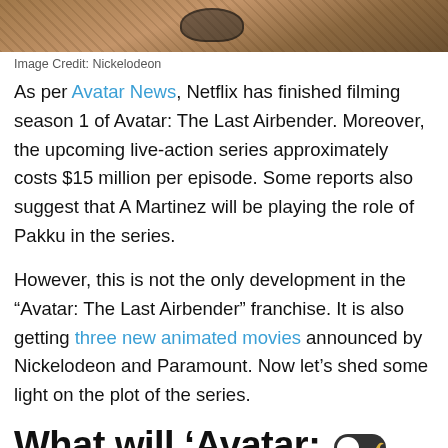[Figure (photo): Partial image showing Avatar-related imagery, cropped at top of page]
Image Credit: Nickelodeon
As per Avatar News, Netflix has finished filming season 1 of Avatar: The Last Airbender. Moreover, the upcoming live-action series approximately costs $15 million per episode. Some reports also suggest that A Martinez will be playing the role of Pakku in the series.
However, this is not the only development in the “Avatar: The Last Airbender” franchise. It is also getting three new animated movies announced by Nickelodeon and Paramount. Now let’s shed some light on the plot of the series.
What will ‘Avatar: The Last Airbender’